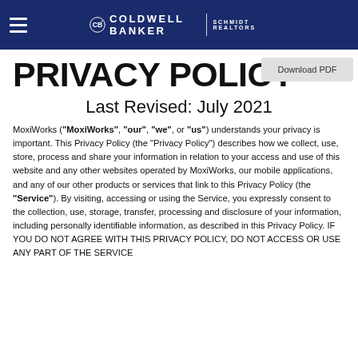Coldwell Banker Schmidt Realtors
PRIVACY POLICY
Last Revised: July 2021
MoxiWorks ("MoxiWorks", "our", "we", or "us") understands your privacy is important. This Privacy Policy (the "Privacy Policy") describes how we collect, use, store, process and share your information in relation to your access and use of this website and any other websites operated by MoxiWorks, our mobile applications, and any of our other products or services that link to this Privacy Policy (the "Service"). By visiting, accessing or using the Service, you expressly consent to the collection, use, storage, transfer, processing and disclosure of your information, including personally identifiable information, as described in this Privacy Policy. IF YOU DO NOT AGREE WITH THIS PRIVACY POLICY, DO NOT ACCESS OR USE ANY PART OF THE SERVICE